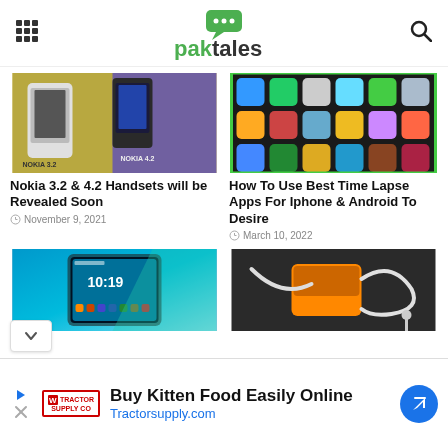paktales
[Figure (photo): Nokia 3.2 and Nokia 4.2 smartphones displayed on colorful background]
Nokia 3.2 & 4.2 Handsets will be Revealed Soon
November 9, 2021
[Figure (photo): Smartphone screen showing various app icons]
How To Use Best Time Lapse Apps For Iphone & Android To Desire
March 10, 2022
[Figure (photo): Smartphone screen showing 10:19 time on home screen]
[Figure (photo): Orange smartphone with white headphone cable on dark background]
Buy Kitten Food Easily Online
Tractorsupply.com